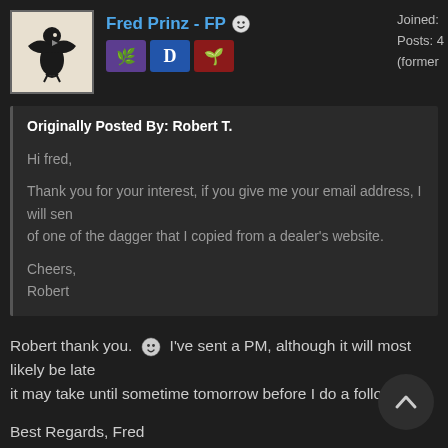Fred Prinz - FP
Joined:
Posts: 4
(former
Originally Posted By: Robert T.

Hi fred,

Thank you for your interest, if you give me your email address, I will send you a photo of one of the dagger that I copied from a dealer's website.

Cheers,
Robert
Robert thank you. I've sent a PM, although it will most likely be late it may take until sometime tomorrow before I do a followup
Best Regards, Fred